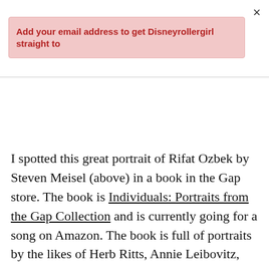×
Add your email address to get Disneyrollergirl straight to
I spotted this great portrait of Rifat Ozbek by Steven Meisel (above) in a book in the Gap store. The book is Individuals: Portraits from the Gap Collection and is currently going for a song on Amazon. The book is full of portraits by the likes of Herb Ritts, Annie Leibovitz, David Sims and Meisel and goes to show that Gap has been doing for years what lots